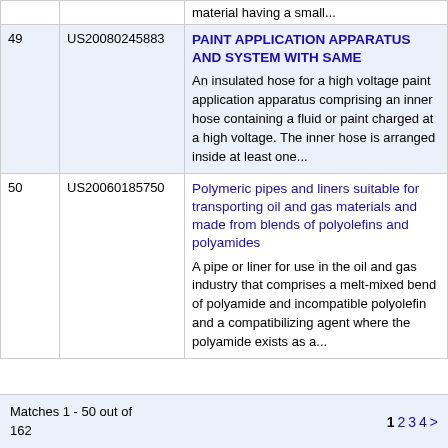| # | Patent ID | Title / Abstract |
| --- | --- | --- |
|  |  | material having a small... |
| 49 | US20080245883 | PAINT APPLICATION APPARATUS AND SYSTEM WITH SAME
An insulated hose for a high voltage paint application apparatus comprising an inner hose containing a fluid or paint charged at a high voltage. The inner hose is arranged inside at least one... |
| 50 | US20060185750 | Polymeric pipes and liners suitable for transporting oil and gas materials and made from blends of polyolefins and polyamides
A pipe or liner for use in the oil and gas industry that comprises a melt-mixed bend of polyamide and incompatible polyolefin and a compatibilizing agent where the polyamide exists as a... |
Matches 1 - 50 out of 162
1 2 3 4 >